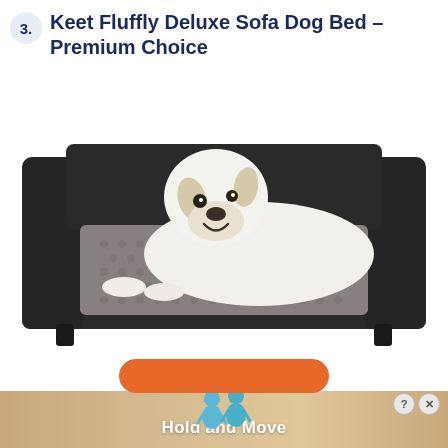3. Keet Fluffly Deluxe Sofa Dog Bed – Premium Choice
[Figure (photo): A white dog lying on a dark charcoal/dark grey upholstered sofa-style dog bed with a textured grey cushion. The dog bed has armrests and a back panel resembling a miniature sofa.]
[Figure (photo): Advertisement banner at the bottom of the page showing 'Hold and Move' text with blue cartoon moving figures on a wood-patterned background, with an orange rounded button above it.]